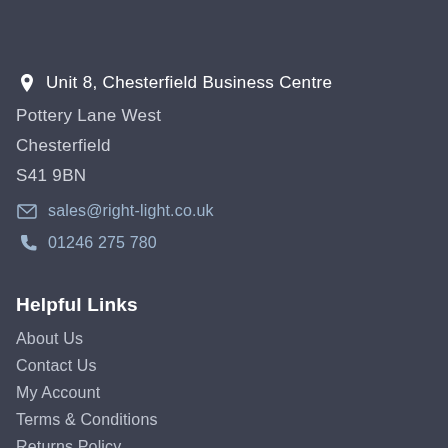Unit 8, Chesterfield Business Centre
Pottery Lane West
Chesterfield
S41 9BN
sales@right-light.co.uk
01246 275 780
Helpful Links
About Us
Contact Us
My Account
Terms & Conditions
Returns Policy